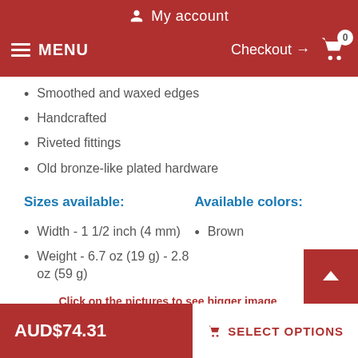My account  MENU  Checkout → 0
Smoothed and waxed edges
Handcrafted
Riveted fittings
Old bronze-like plated hardware
Sizes available:
Available colors:
Width - 1 1/2 inch (4 mm)
Weight - 6.7 oz (19 g) - 2.8 oz (59 g)
Brown
Click on the pictures to see bigger image
AUD$74.31  SELECT OPTIONS